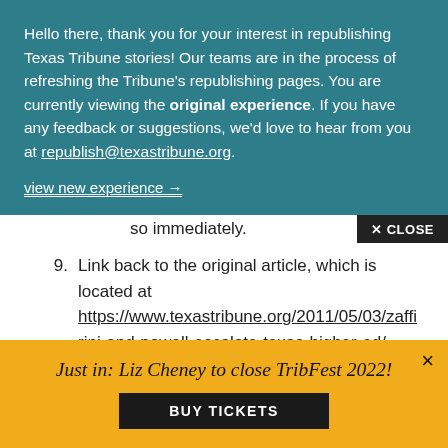Hello there, thank you for your interest in republishing Texas Tribune stories! Our teams are in the process of refreshing the Tribune's republishing pages. You are currently viewing the original experience. If you have any feedback or suggestions, we'd love to hear from you at republish@texastribune.org.
view new experience →
so immediately.
✕ CLOSE
9. Link back to the original article, which is located at https://www.texastribune.org/2011/05/03/zaffirini-and-powell-escalate-texas-higher-ed/.
Because The Texas Tribune allows any republisher
Just in: Liz Cheney to close TribFest 2022!
BUY TICKETS